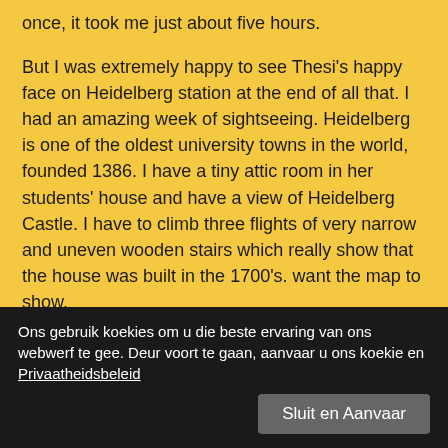once, it took me just about five hours.
But I was extremely happy to see Thesi's happy face on Heidelberg station at the end of all that. I had an amazing week of sightseeing. Heidelberg is one of the oldest university towns in the world, founded 1386. I have a tiny attic room in her students' house and have a view of Heidelberg Castle. I have to climb three flights of very narrow and uneven wooden stairs which really show that the house was built in the 1700's. want the map to show.
We will leave for the Bundescamp tomorrow morning very early. It is about a six hour bus trip with many other Rangers. Please pray for us for a safe journey and for my help.
Ons gebruik koekies om u die beste ervaring van ons webwerf te gee. Deur voort te gaan, aanvaar u ons koekie en Privaatheidsbeleid
Sluit en Aanvaar